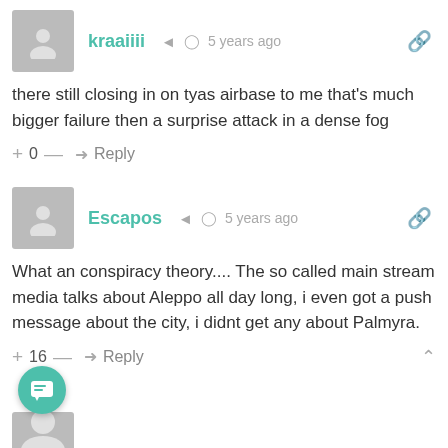kraaiiii  5 years ago
there still closing in on tyas airbase to me that's much bigger failure then a surprise attack in a dense fog
+ 0 — Reply
Escapos  5 years ago
What an conspiracy theory.... The so called main stream media talks about Aleppo all day long, i even got a push message about the city, i didnt get any about Palmyra.
+ 16 — Reply